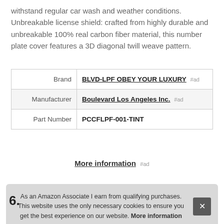withstand regular car wash and weather conditions. Unbreakable license shield: crafted from highly durable and unbreakable 100% real carbon fiber material, this number plate cover features a 3D diagonal twill weave pattern.
|  |  |
| --- | --- |
| Brand | BLVD-LPF OBEY YOUR LUXURY #ad |
| Manufacturer | Boulevard Los Angeles Inc. #ad |
| Part Number | PCCFLPF-001-TINT |
More information #ad
As an Amazon Associate I earn from qualifying purchases. This website uses the only necessary cookies to ensure you get the best experience on our website. More information